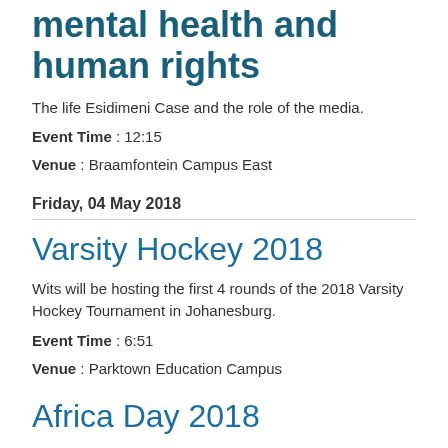mental health and human rights
The life Esidimeni Case and the role of the media.
Event Time : 12:15
Venue : Braamfontein Campus East
Friday, 04 May 2018
Varsity Hockey 2018
Wits will be hosting the first 4 rounds of the 2018 Varsity Hockey Tournament in Johanesburg.
Event Time : 6:51
Venue : Parktown Education Campus
Africa Day 2018